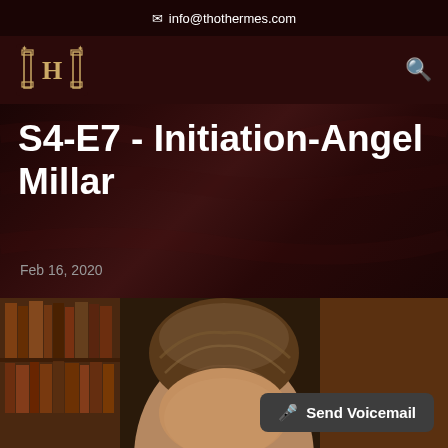info@thothermes.com
[Figure (logo): Thoth-Hermes podcast logo with ornate letter H between two pillars]
S4-E7 - Initiation-Angel Millar
Feb 16, 2020
[Figure (photo): Close-up photo of a person with dark hair, bookshelves visible in background]
🎤 Send Voicemail